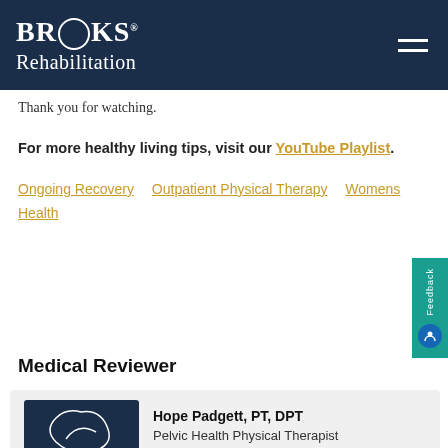Brooks Rehabilitation
Thank you for watching.
For more healthy living tips, visit our YouTube Playlist.
Ongoing Recovery   Outpatient Physical Therapy   Womens Health
Medical Reviewer
Hope Padgett, PT, DPT
Pelvic Health Physical Therapist